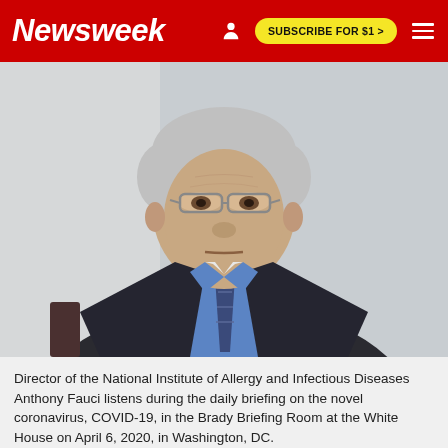Newsweek  SUBSCRIBE FOR $1 >
[Figure (photo): Portrait photograph of Anthony Fauci, Director of the National Institute of Allergy and Infectious Diseases, wearing glasses, a blue shirt and striped tie and dark blazer, looking to the side with a serious expression.]
Director of the National Institute of Allergy and Infectious Diseases Anthony Fauci listens during the daily briefing on the novel coronavirus, COVID-19, in the Brady Briefing Room at the White House on April 6, 2020, in Washington, DC.
MANDEL NGAN / AFP/GETTY